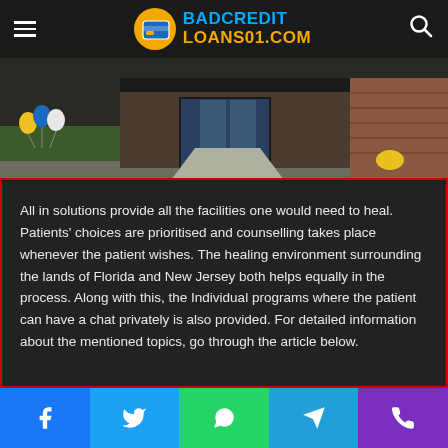BADCREDIT LOANS01.COM
[Figure (photo): Exterior photo of a building entrance with balloons and landscaping, brick facade visible]
All in solutions provide all the facilities one would need to heal. Patients' choices are prioritised and counselling takes place whenever the patient wishes. The healing environment surrounding the lands of Florida and New Jersey both helps equally in the process. Along with this, the Individual programs where the patient can have a chat privately is also provided. For detailed information about the mentioned topics, go through the article below.
Facebook | Twitter | WhatsApp | Telegram | Phone